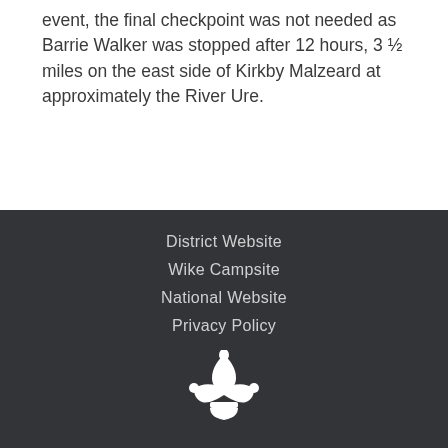event, the final checkpoint was not needed as Barrie Walker was stopped after 12 hours, 3 ½ miles on the east side of Kirkby Malzeard at approximately the River Ure.
District Website
Wike Campsite
National Website
Privacy Policy